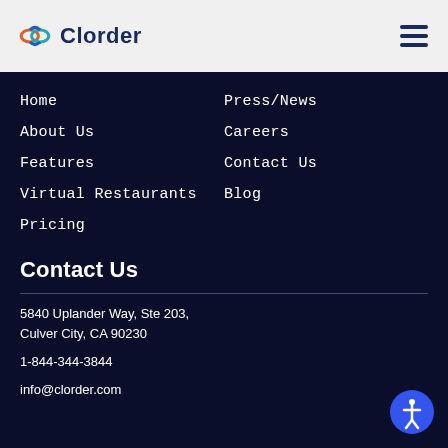Clorder
Home
Press/News
About Us
Careers
Features
Contact Us
Virtual Restaurants
Blog
Pricing
Contact Us
5840 Uplander Way, Ste 203, Culver City, CA 90230
1-844-344-3844
info@clorder.com